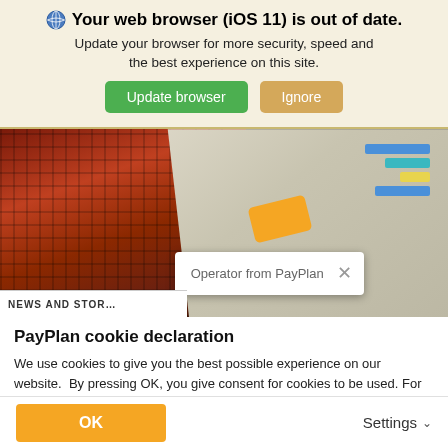Your web browser (iOS 11) is out of date.
Update your browser for more security, speed and the best experience on this site.
[Figure (screenshot): Website screenshot showing a person in plaid shirt holding papers with colored tags, a chat bubble overlay saying 'Operator from PayPlan', and a NEWS AND STORIES bar at the bottom]
PayPlan cookie declaration
We use cookies to give you the best possible experience on our website.  By pressing OK, you give consent for cookies to be used. For more details or to change your settings please read our Cookie Policy.